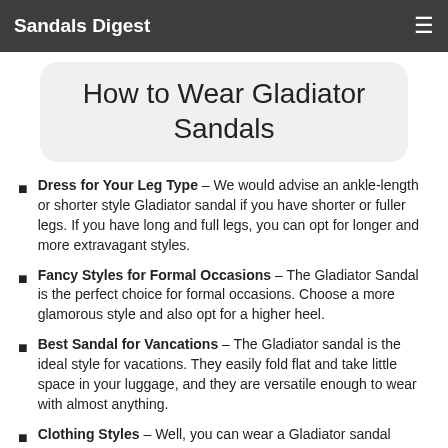Sandals Digest
How to Wear Gladiator Sandals
Dress for Your Leg Type – We would advise an ankle-length or shorter style Gladiator sandal if you have shorter or fuller legs. If you have long and full legs, you can opt for longer and more extravagant styles.
Fancy Styles for Formal Occasions – The Gladiator Sandal is the perfect choice for formal occasions. Choose a more glamorous style and also opt for a higher heel.
Best Sandal for Vancations – The Gladiator sandal is the ideal style for vacations. They easily fold flat and take little space in your luggage, and they are versatile enough to wear with almost anything.
Clothing Styles – Well, you can wear a Gladiator sandal with almost anything...